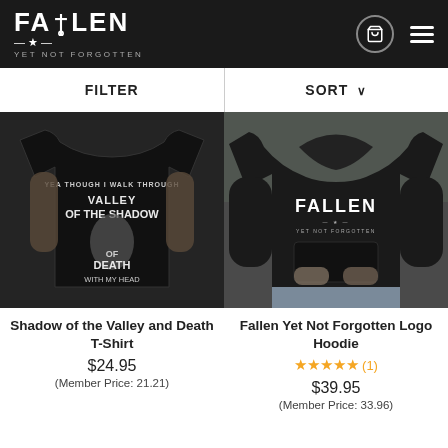[Figure (logo): Fallen Yet Not Forgotten logo — white text on dark background with cross/grave icon]
FILTER
SORT ∨
[Figure (photo): Man wearing black t-shirt with Valley of the Shadow of Death graphic print, muscles visible, outdoor setting]
Shadow of the Valley and Death T-Shirt
$24.95
(Member Price: 21.21)
[Figure (photo): Man wearing black hoodie with Fallen Yet Not Forgotten logo on chest, hands in pocket, outdoor setting]
Fallen Yet Not Forgotten Logo Hoodie
★★★★★ (1)
$39.95
(Member Price: 33.96)